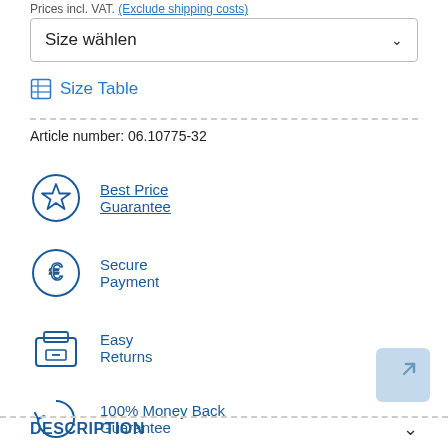Prices incl. VAT. (Exclude shipping costs)
Size wählen
Size Table
Article number: 06.10775-32
Best Price Guarantee
Secure Payment
Easy Returns
100% Money Back Guarantee
DESCRIPTION